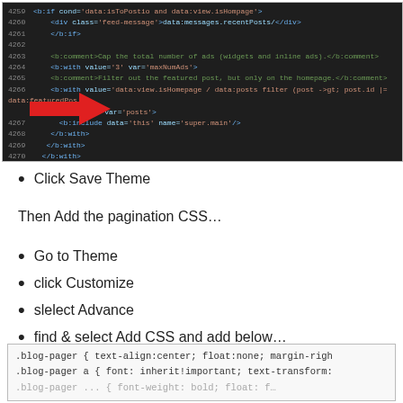[Figure (screenshot): Code editor screenshot showing XML/template code lines 4259-4300 with a red arrow pointing to line 4274 containing b:include name='postPagination']
Click Save Theme
Then Add the pagination CSS…
Go to Theme
click Customize
slelect Advance
find & select Add CSS and add below…
[Figure (screenshot): Code snippet showing .blog-pager CSS rules]